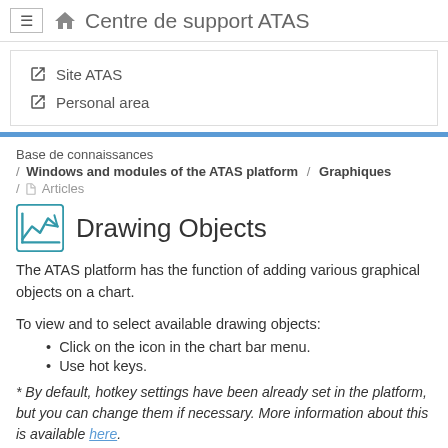≡ Centre de support ATAS
Site ATAS
Personal area
Base de connaissances
/ Windows and modules of the ATAS platform / Graphiques / Articles
Drawing Objects
The ATAS platform has the function of adding various graphical objects on a chart.
To view and to select available drawing objects:
Click on the icon in the chart bar menu.
Use hot keys.
* By default, hotkey settings have been already set in the platform, but you can change them if necessary. More information about this is available here.